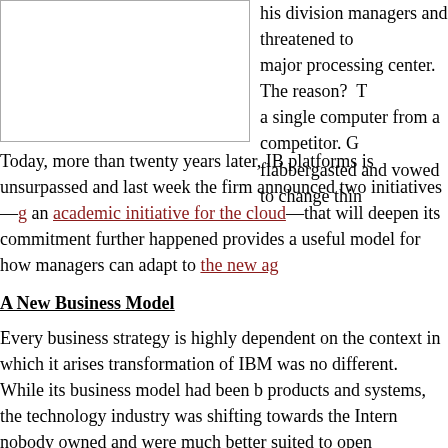[Figure (other): Empty white box with border, representing an image placeholder]
his division managers and threatened to major processing center.  The reason?  a single computer from a competitor. G flabbergasted and vowed to change thin
Today, more than twenty years later, IB platforms is unsurpassed and last week the firm announced two initiatives—g an academic initiative for the cloud—that will deepen its commitment further happened provides a useful model for how managers can adapt to the new ag
A New Business Model
Every business strategy is highly dependent on the context in which it arises transformation of IBM was no different.  While its business model had been b products and systems, the technology industry was shifting towards the Intern nobody owned and were much better suited to open technologies.
This was a completely new way of thinking about business.  As Dr. Angel Di IBM explains,"In the beginning, we needed to understand what open source a natural instincts of enterprises was to try to control it, so these instincts neede